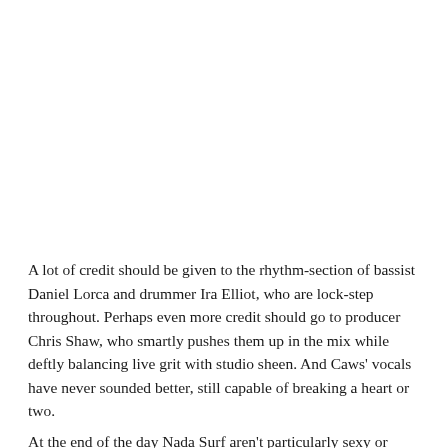A lot of credit should be given to the rhythm-section of bassist Daniel Lorca and drummer Ira Elliot, who are lock-step throughout. Perhaps even more credit should go to producer Chris Shaw, who smartly pushes them up in the mix while deftly balancing live grit with studio sheen. And Caws' vocals have never sounded better, still capable of breaking a heart or two.
At the end of the day Nada Surf aren't particularly sexy or